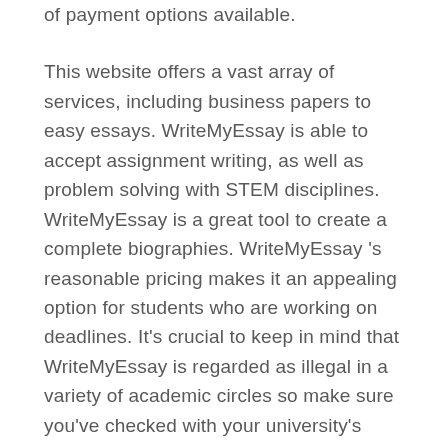of payment options available.
This website offers a vast array of services, including business papers to easy essays. WriteMyEssay is able to accept assignment writing, as well as problem solving with STEM disciplines. WriteMyEssay is a great tool to create a complete biographies. WriteMyEssay 's reasonable pricing makes it an appealing option for students who are working on deadlines. It's crucial to keep in mind that WriteMyEssay is regarded as illegal in a variety of academic circles so make sure you've checked with your university's rules before using a writing service to write your essay.
WriteMyEssay is a company that has existed for more than ten years. However, WriteMyEssay 's reputation has suffered